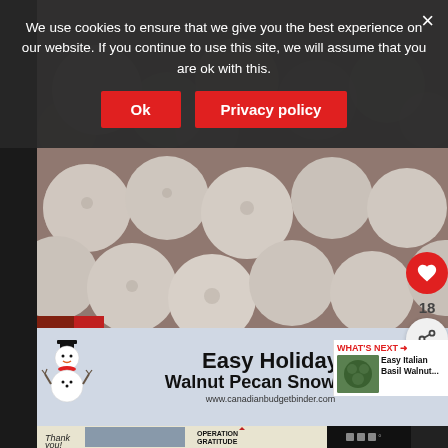[Figure (screenshot): Cookie consent overlay with dark semi-transparent background reading: 'We use cookies to ensure that we give you the best experience on our website. If you continue to use this site, we will assume that you are ok with this.' Two red buttons labeled 'Ok' and 'Privacy policy', and a close X button.]
[Figure (photo): Close-up photo of many round powdered sugar-coated snowball cookies (walnut pecan snowballs) piled together.]
[Figure (infographic): Recipe card with light blue-grey background. Snowman icon on left. Text reads 'Easy Holiday Walnut Pecan Snowballs' with URL www.canadianbudgetbinder.com. Heart icon button showing 18 likes, and a share button.]
[Figure (screenshot): WHAT'S NEXT panel showing thumbnail of green food item and text 'Easy Italian Basil Walnut...']
[Figure (screenshot): Advertisement bar at bottom showing 'Thank you' with firefighters photo and Operation Gratitude logo.]